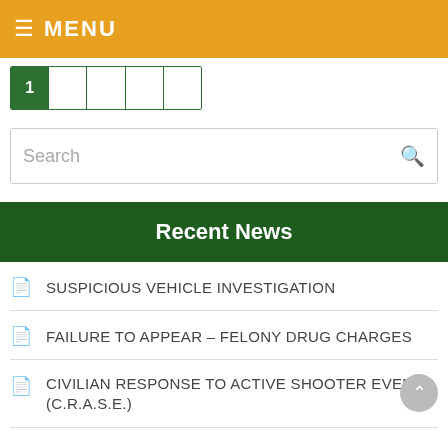≡ MENU
[Figure (other): Pagination row showing page 1 selected (green) followed by 4 empty page cells]
Search
Recent News
SUSPICIOUS VEHICLE INVESTIGATION
FAILURE TO APPEAR – FELONY DRUG CHARGES
CIVILIAN RESPONSE TO ACTIVE SHOOTER EVENTS (C.R.A.S.E.)